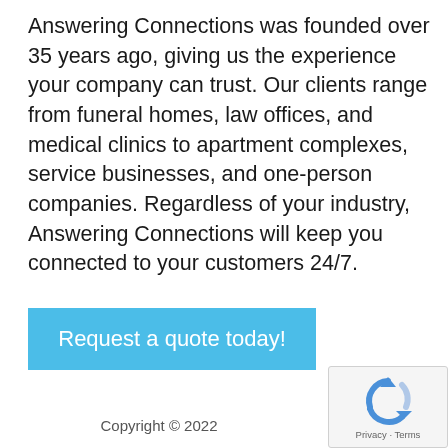Answering Connections was founded over 35 years ago, giving us the experience your company can trust. Our clients range from funeral homes, law offices, and medical clinics to apartment complexes, service businesses, and one-person companies. Regardless of your industry, Answering Connections will keep you connected to your customers 24/7.
Request a quote today!
Copyright © 2022
[Figure (logo): reCAPTCHA logo with Privacy and Terms links]